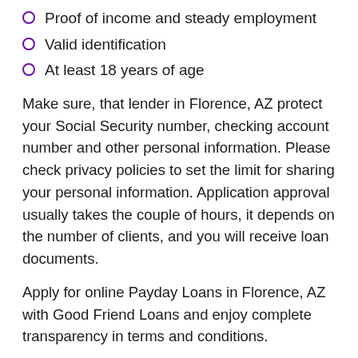Proof of income and steady employment
Valid identification
At least 18 years of age
Make sure, that lender in Florence, AZ protect your Social Security number, checking account number and other personal information. Please check privacy policies to set the limit for sharing your personal information. Application approval usually takes the couple of hours, it depends on the number of clients, and you will receive loan documents.
Apply for online Payday Loans in Florence, AZ with Good Friend Loans and enjoy complete transparency in terms and conditions.
FAQ Payday Loans in Florence
How do Payday Loans in Florence, AZ work?